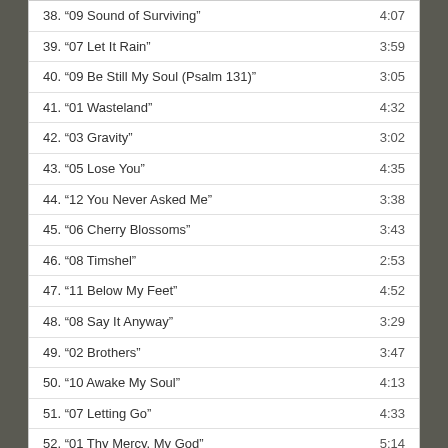38. “09 Sound of Surviving” 4:07
39. “07 Let It Rain” 3:59
40. “09 Be Still My Soul (Psalm 131)” 3:05
41. “01 Wasteland” 4:32
42. “03 Gravity” 3:02
43. “05 Lose You” 4:35
44. “12 You Never Asked Me” 3:38
45. “06 Cherry Blossoms” 3:43
46. “08 Timshel” 2:53
47. “11 Below My Feet” 4:52
48. “08 Say It Anyway” 3:29
49. “02 Brothers” 3:47
50. “10 Awake My Soul” 4:13
51. “07 Letting Go” 4:33
52. “01 Thy Mercy, My God” 5:14
53. “13 The Weary Kind” 4:18
Archive